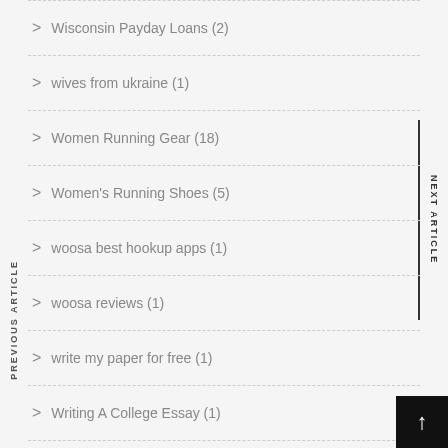Wisconsin Payday Loans (2)
wives from ukraine (1)
Women Running Gear (18)
Women's Running Shoes (5)
woosa best hookup apps (1)
woosa reviews (1)
write my paper for free (1)
Writing A College Essay (1)